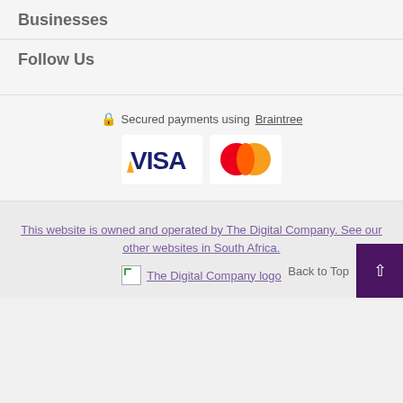Businesses
Follow Us
Secured payments using Braintree
[Figure (logo): VISA and MasterCard payment logos]
This website is owned and operated by The Digital Company. See our other websites in South Africa.
[Figure (logo): The Digital Company logo placeholder with link text]
Back to Top